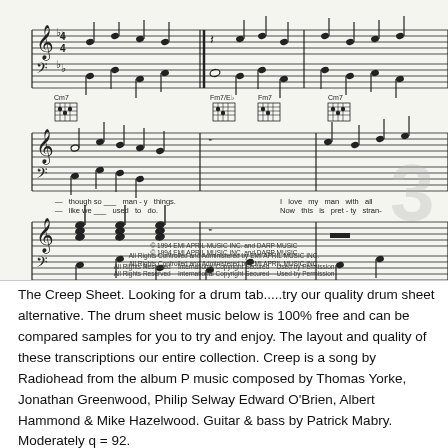[Figure (other): Sheet music excerpt for 'Creep' by Radiohead showing musical notation with treble and bass clef staves, chord diagrams for Cm7, Fm7/Eb, Fm7, Cm7, and lyrics including 'yeah.', 'The twenty-second of lone-li-ness and we've', 'creep. The twenty-third of lone-li-ness and we don't', 'though so many things.', 'like we used to do.', 'I love my man with all', 'Now this is pret-ty stran-']
© 1994 EMI APRIL MUSIC INC. and DARP MUSIC
All Rights Controlled and Administered by EMI APRIL MUSIC INC.
All Rights Reserved   International Copyright Secured   Used by Permission
The Creep Sheet. Looking for a drum tab.....try our quality drum sheet alternative. The drum sheet music below is 100% free and can be compared samples for you to try and enjoy. The layout and quality of these transcriptions our entire collection. Creep is a song by Radiohead from the album P music composed by Thomas Yorke, Jonathan Greenwood, Philip Selway Edward O'Brien, Albert Hammond & Mike Hazelwood. Guitar & bass by Patrick Mabry. Moderately q = 92.